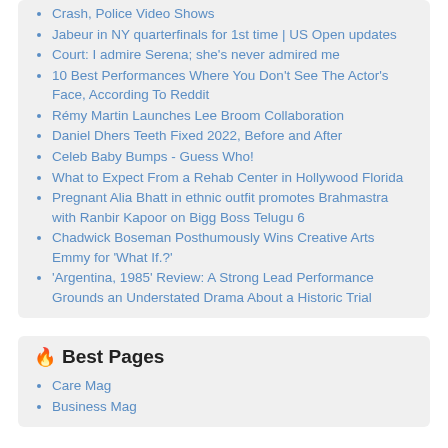Crash, Police Video Shows
Jabeur in NY quarterfinals for 1st time | US Open updates
Court: I admire Serena; she's never admired me
10 Best Performances Where You Don't See The Actor's Face, According To Reddit
Rémy Martin Launches Lee Broom Collaboration
Daniel Dhers Teeth Fixed 2022, Before and After
Celeb Baby Bumps - Guess Who!
What to Expect From a Rehab Center in Hollywood Florida
Pregnant Alia Bhatt in ethnic outfit promotes Brahmastra with Ranbir Kapoor on Bigg Boss Telugu 6
Chadwick Boseman Posthumously Wins Creative Arts Emmy for 'What If.?'
'Argentina, 1985' Review: A Strong Lead Performance Grounds an Understated Drama About a Historic Trial
🔥 Best Pages
Care Mag
Business Mag